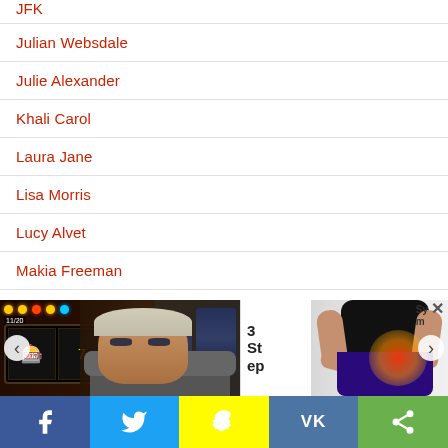JFK
Julian Websdale
Julie Alexander
Khali Carol
Laura Jane
Lisa Morris
Lucy Alvet
Makia Freeman
Mandela Effect
[Figure (photo): Advertisement banner with casino/slot machine image on left showing an older man's face, text '3 Steps' in middle, and a person with red pain highlight on right hip area. Below are left/right carousel navigation arrows.]
[Figure (infographic): Social media sharing bar with Facebook (blue), Twitter (blue), Snapchat (yellow), VK (blue), and share (green) buttons with icons.]